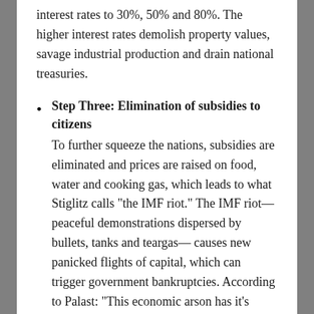interest rates to 30%, 50% and 80%. The higher interest rates demolish property values, savage industrial production and drain national treasuries.
Step Three: Elimination of subsidies to citizens
To further squeeze the nations, subsidies are eliminated and prices are raised on food, water and cooking gas, which leads to what Stiglitz calls “the IMF riot.” The IMF riot—peaceful demonstrations dispersed by bullets, tanks and teargas— causes new panicked flights of capital, which can trigger government bankruptcies. According to Palast: “This economic arson has it’s bright side—for foreign corporations, who can